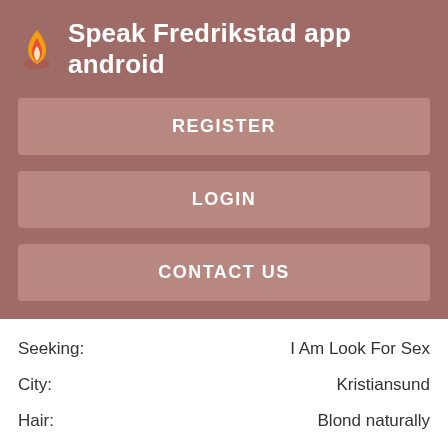Speak Fredrikstad app android
REGISTER
LOGIN
CONTACT US
Seeking: I Am Look For Sex
City: Kristiansund
Hair: Blond naturally
Relation Type: Sexy Single Women Ready Free Sex Dating Chat
Views: 2668